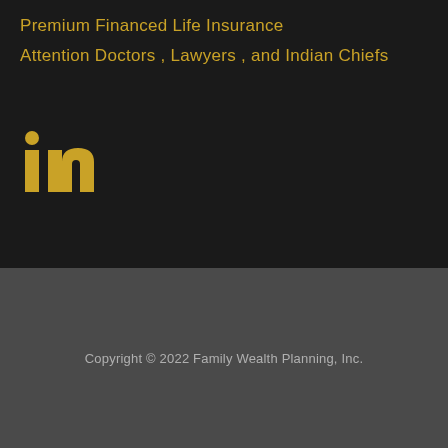Premium Financed Life Insurance
Attention Doctors , Lawyers , and Indian Chiefs
[Figure (logo): LinkedIn logo icon in gold/yellow color]
Copyright © 2022 Family Wealth Planning, Inc.